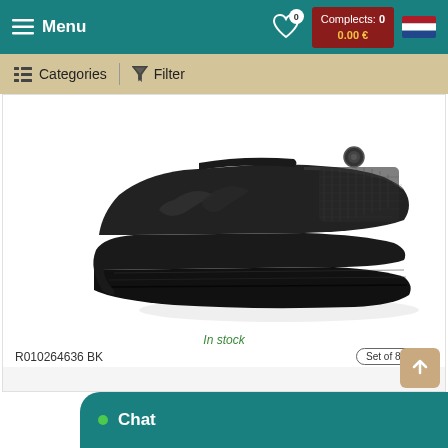Menu | Complects: 0  0.00 €
Categories | Filter
[Figure (photo): Black athletic/sport sneaker shoe on white background, viewed from side angle showing chunky sole and mesh upper]
In stock
R010264636 BK
Leather / eco-leather
Price: Authorization
Set of 8 pairs
Size: 32-37
Add to wishlist
Details
Chat